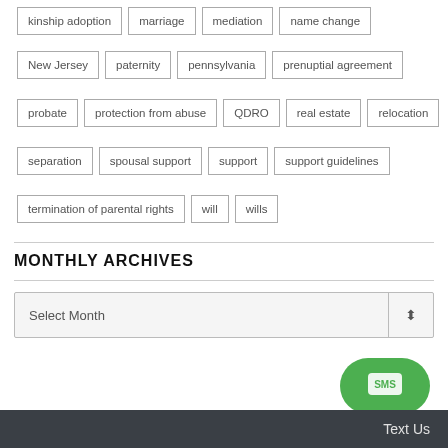kinship adoption
marriage
mediation
name change
New Jersey
paternity
pennsylvania
prenuptial agreement
probate
protection from abuse
QDRO
real estate
relocation
separation
spousal support
support
support guidelines
termination of parental rights
will
wills
MONTHLY ARCHIVES
Select Month
Text Us